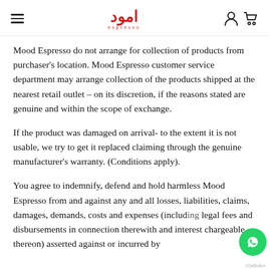Mood Espresso logo with hamburger menu and user/cart icons
Mood Espresso do not arrange for collection of products from purchaser's location. Mood Espresso customer service department may arrange collection of the products shipped at the nearest retail outlet – on its discretion, if the reasons stated are genuine and within the scope of exchange.
If the product was damaged on arrival- to the extent it is not usable, we try to get it replaced claiming through the genuine manufacturer's warranty. (Conditions apply).
You agree to indemnify, defend and hold harmless Mood Espresso from and against any and all losses, liabilities, claims, damages, demands, costs and expenses (including legal fees and disbursements in connection therewith and interest chargeable thereon) asserted against or incurred by